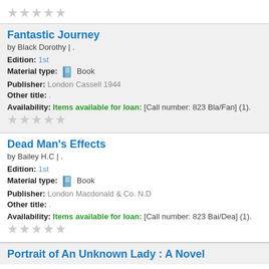★★★★★ (stars rating - top)
Fantastic Journey
by Black Dorothy | .
Edition: 1st
Material type: Book
Publisher: London Cassell 1944
Other title: .
Availability: Items available for loan: [Call number: 823 Bla/Fan] (1).
★★★★★ (stars rating)
Dead Man's Effects
by Bailey H.C | .
Edition: 1st
Material type: Book
Publisher: London Macdonald & Co. N.D
Other title: .
Availability: Items available for loan: [Call number: 823 Bai/Dea] (1).
★★★★★ (stars rating)
Portrait of An Unknown Lady : A Novel